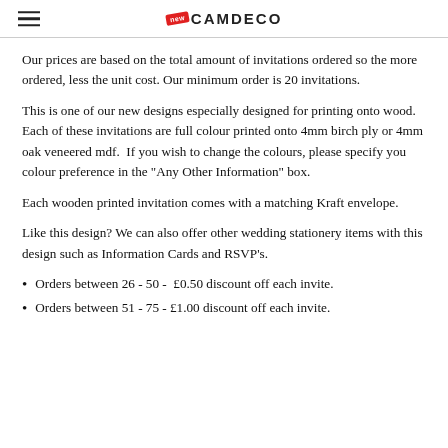CAMDECO
Our prices are based on the total amount of invitations ordered so the more ordered, less the unit cost. Our minimum order is 20 invitations.
This is one of our new designs especially designed for printing onto wood. Each of these invitations are full colour printed onto 4mm birch ply or 4mm oak veneered mdf.  If you wish to change the colours, please specify you colour preference in the "Any Other Information" box.
Each wooden printed invitation comes with a matching Kraft envelope.
Like this design? We can also offer other wedding stationery items with this design such as Information Cards and RSVP's.
Orders between 26 - 50 -  £0.50 discount off each invite.
Orders between 51 - 75 - £1.00 discount off each invite.